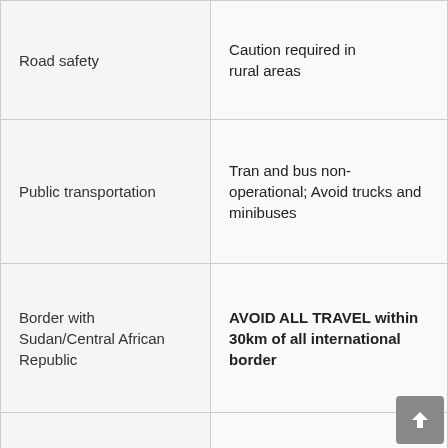| Category | Advisory |
| --- | --- |
| Road safety | Caution required in rural areas |
| Public transportation | Tran and bus non-operational; Avoid trucks and minibuses |
| Border with Sudan/Central African Republic | AVOID ALL TRAVEL within 30km of all international border |
| Northern Chad | AVOID ALL TRAVEL within 30km of all international border |
| Border with Nigeria/Cameroon | AVOID ALL TRAVEL within 30km of all international |